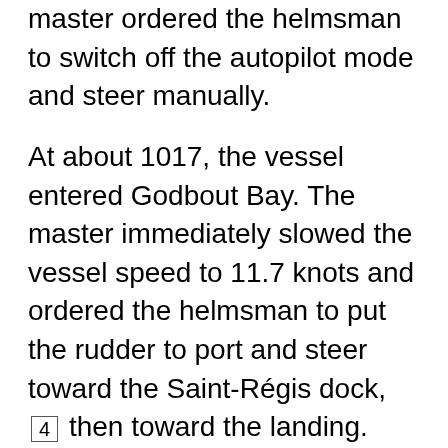Godbout ferry wharf. At 1012, the master ordered the helmsman to switch off the autopilot mode and steer manually.
At about 1017, the vessel entered Godbout Bay. The master immediately slowed the vessel speed to 11.7 knots and ordered the helmsman to put the rudder to port and steer toward the Saint-Régis dock, [4] then toward the landing. The manoeuvre caused the vessel to turn toward the wharf faster than expected. While the vessel was turning rapidly, the master took the command of the vessel on the port navigation wing. He immediately turned